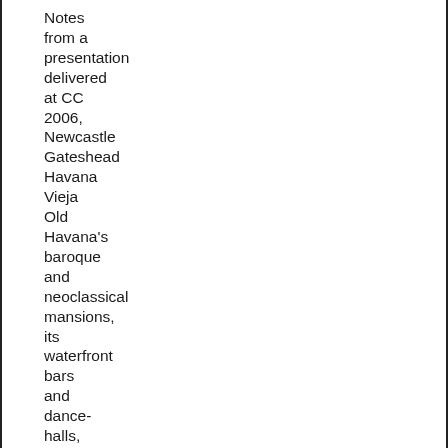Notes from a presentation delivered at CC 2006, Newcastle Gateshead Havana Vieja Old Havana's baroque and neoclassical mansions, its waterfront bars and dance-halls, were brought vividly to